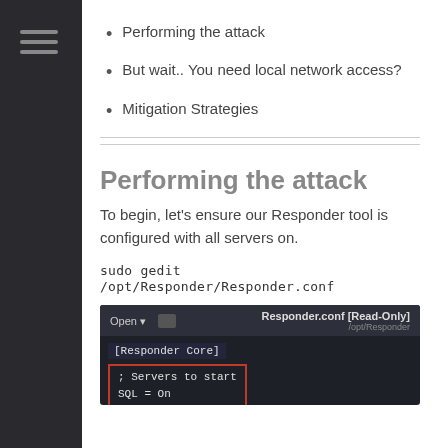Performing the attack
But wait.. You need local network access?
Mitigation Strategies
Performing the attack
To begin, let’s ensure our Responder tool is configured with all servers on.
sudo gedit /opt/Responder/Responder.conf
[Figure (screenshot): Screenshot of a text editor showing Responder.conf [Read-Only] file at /opt/Responder, with [Responder Core] section visible and a red-bordered box showing: ; Servers to start, SQL = On, SMB = On]